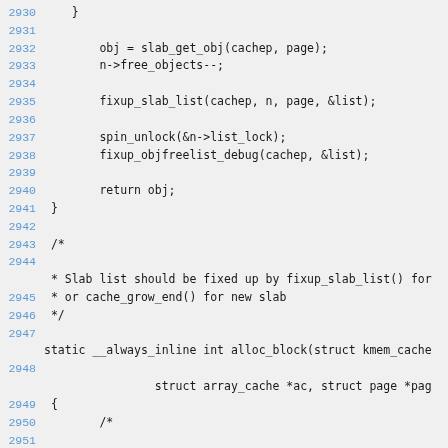Source code listing, lines 2930-2951, C kernel code
2930    }
2931
2932        obj = slab_get_obj(cachep, page);
2933        n->free_objects--;
2934
2935        fixup_slab_list(cachep, n, page, &list);
2936
2937        spin_unlock(&n->list_lock);
2938        fixup_objfreelist_debug(cachep, &list);
2939
2940        return obj;
2941 }
2942
2943 /*
2944
* Slab list should be fixed up by fixup_slab_list() for
2945  * or cache_grow_end() for new slab
2946  */
2947
static __always_inline int alloc_block(struct kmem_cache
2948
struct array_cache *ac, struct page *pag
2949 {
2950        /*
2951